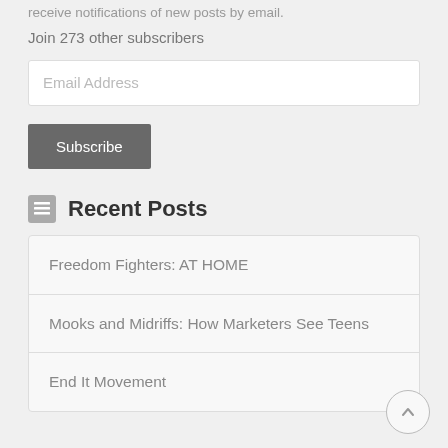receive notifications of new posts by email.
Join 273 other subscribers
Email Address
Subscribe
Recent Posts
Freedom Fighters: AT HOME
Mooks and Midriffs: How Marketers See Teens
End It Movement